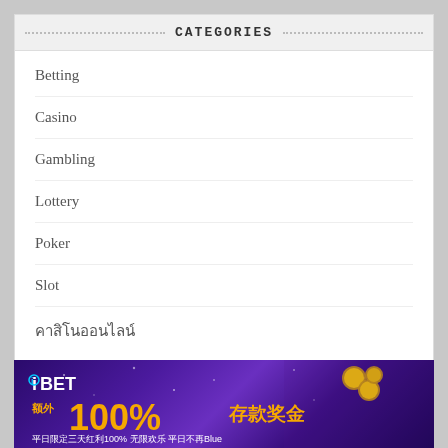CATEGORIES
Betting
Casino
Gambling
Lottery
Poker
Slot
คาสิโนออนไลน์
[Figure (photo): iBET online casino advertisement banner in purple/gold showing 100% deposit bonus promotion with Chinese text and a woman's photo]